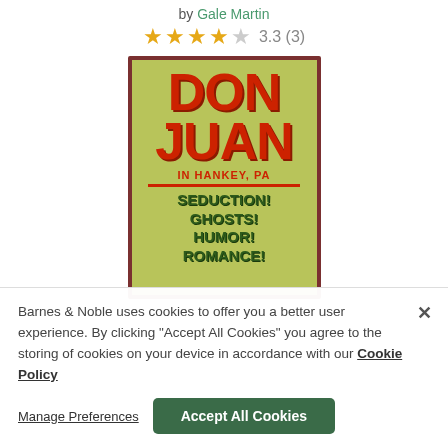by Gale Martin
3.3 (3)
[Figure (photo): Book cover for 'Don Juan in Hankey, PA' showing large red DON JUAN text, red subtitle 'IN HANKEY, PA', and green text listing SEDUCTION! GHOSTS! HUMOR! ROMANCE! on a distressed yellowish-green background.]
Barnes & Noble uses cookies to offer you a better user experience. By clicking "Accept All Cookies" you agree to the storing of cookies on your device in accordance with our Cookie Policy
Manage Preferences
Accept All Cookies